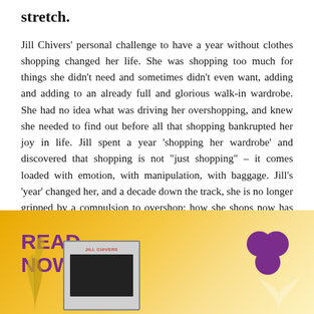stretch.
Jill Chivers' personal challenge to have a year without clothes shopping changed her life. She was shopping too much for things she didn't need and sometimes didn't even want, adding and adding to an already full and glorious walk-in wardrobe. She had no idea what was driving her overshopping, and knew she needed to find out before all that shopping bankrupted her joy in life. Jill spent a year 'shopping her wardrobe' and discovered that shopping is not "just shopping" – it comes loaded with emotion, with manipulation, with baggage. Jill's 'year' changed her, and a decade down the track, she is no longer gripped by a compulsion to overshop; how she shops now has radically changed since she completed the challenge.
[Figure (illustration): Advertisement banner with golden/yellow gradient background. 'READ NOW' text in purple bold uppercase on the left. A purple logo (two circles) on the upper right. A book cover showing 'JILL CHIVERS' at the bottom of the banner with a decorative plant element on the far left.]